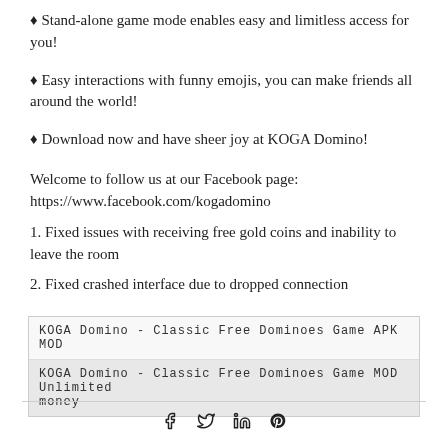♦ Stand-alone game mode enables easy and limitless access for you!
♦ Easy interactions with funny emojis, you can make friends all around the world!
♦ Download now and have sheer joy at KOGA Domino!
Welcome to follow us at our Facebook page:
https://www.facebook.com/kogadomino
1. Fixed issues with receiving free gold coins and inability to leave the room
2. Fixed crashed interface due to dropped connection
KOGA Domino - Classic Free Dominoes Game APK MOD
KOGA Domino - Classic Free Dominoes Game MOD Unlimited money
f  y  in  ®